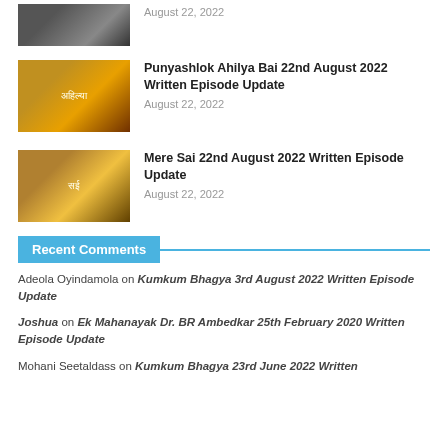[Figure (photo): Thumbnail image for first article, cropped at top]
August 22, 2022
[Figure (photo): Thumbnail image for Punyashlok Ahilya Bai episode]
Punyashlok Ahilya Bai 22nd August 2022 Written Episode Update
August 22, 2022
[Figure (photo): Thumbnail image for Mere Sai episode]
Mere Sai 22nd August 2022 Written Episode Update
August 22, 2022
Recent Comments
Adeola Oyindamola on Kumkum Bhagya 3rd August 2022 Written Episode Update
Joshua on Ek Mahanayak Dr. BR Ambedkar 25th February 2020 Written Episode Update
Mohani Seetaldass on Kumkum Bhagya 23rd June 2022 Written